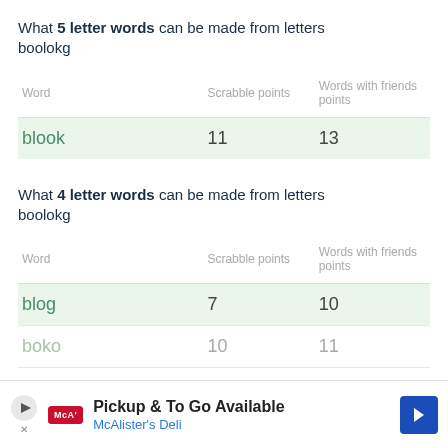What 5 letter words can be made from letters boolokg
| Word | Scrabble points | Words with friends points |
| --- | --- | --- |
| blook | 11 | 13 |
What 4 letter words can be made from letters boolokg
| Word | Scrabble points | Words with friends points |
| --- | --- | --- |
| blog | 7 | 10 |
| boko | 10 | 11 |
| bolo | … | … |
[Figure (other): Advertisement banner: Pickup & To Go Available - McAlister's Deli]